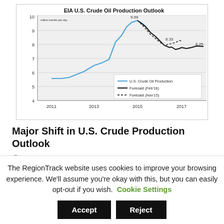[Figure (line-chart): EIA U.S. Crude Oil Production Outlook]
Major Shift in U.S. Crude Production Outlook
February 4, 2016   mcsnead   Pic of the Week, Uncategorized
The RegionTrack website uses cookies to improve your browsing experience. We'll assume you're okay with this, but you can easily opt-out if you wish.  Cookie Settings  Accept  Reject